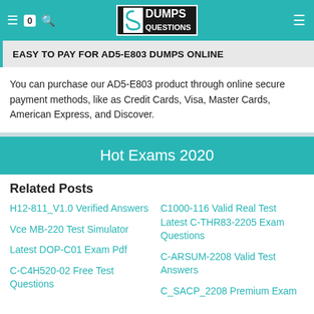DumpsQuestions - 0
EASY TO PAY FOR AD5-E803 DUMPS ONLINE
You can purchase our AD5-E803 product through online secure payment methods, like as Credit Cards, Visa, Master Cards, American Express, and Discover.
Hot Exams 2020
Related Posts
H12-811_V1.0 Verified Answers
C1000-116 Valid Real Test
Latest C-THR83-2205 Exam Questions
Vce MB-220 Test Simulator
C-ARSUM-2208 Valid Test Answers
Latest DOP-C01 Exam Pdf
C-C4H520-02 Free Test Questions
C_SACP_2208 Premium Exam